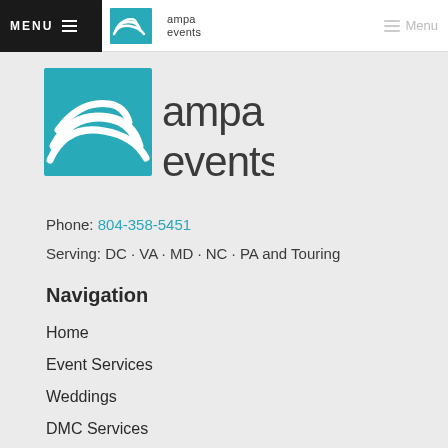MENU  ampa events  Menu
[Figure (logo): Ampa Events logo — teal swirl icon with text 'ampa events' in dark gray, large version]
Phone: 804-358-5451
Serving: DC · VA · MD · NC · PA and Touring
Navigation
Home
Event Services
Weddings
DMC Services